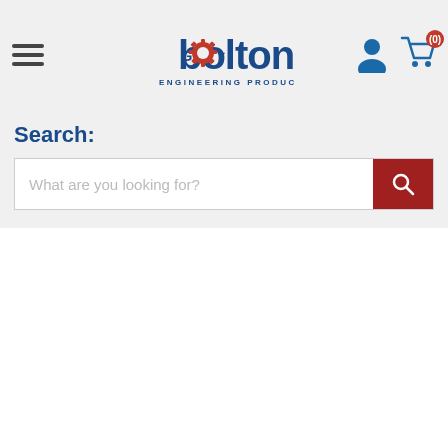[Figure (logo): Bolton Engineering Products logo with hamburger menu, GBP currency selector, user icon, and cart with (0) badge in a grey header bar]
Search:
[Figure (screenshot): Search bar with placeholder text 'What are you looking for?' and a dark red search button with magnifying glass icon]